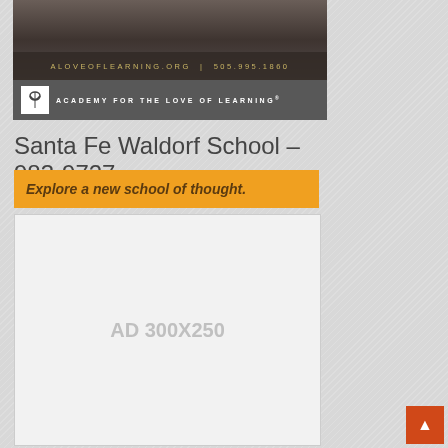[Figure (photo): Academy for the Love of Learning banner advertisement with dark wood-tone background. Shows website aloveoflearning.org and phone number 505.995.1860 in gold text, with dark gray logo bar below containing the organization logo and name 'ACADEMY FOR THE LOVE OF LEARNING' in white uppercase letters.]
Santa Fe Waldorf School – 983-9727
Explore a new school of thought.
[Figure (other): AD 300X250 placeholder advertisement box]